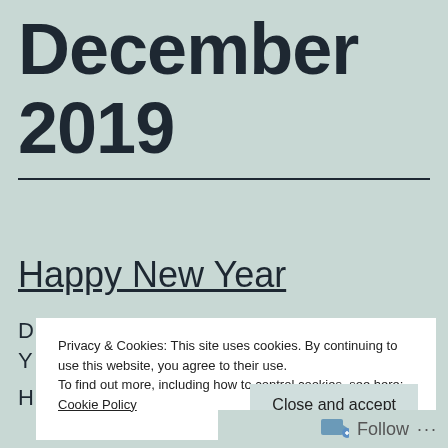December 2019
Happy New Year
Privacy & Cookies: This site uses cookies. By continuing to use this website, you agree to their use. To find out more, including how to control cookies, see here: Cookie Policy
Close and accept
Follow